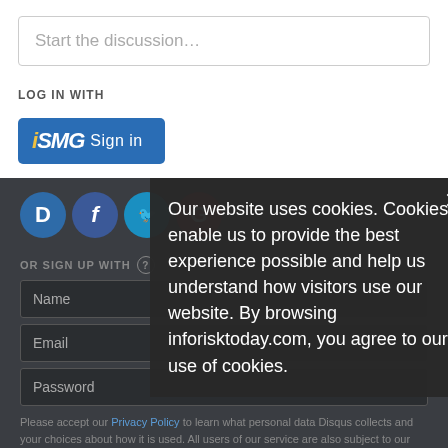Start the discussion…
LOG IN WITH
[Figure (logo): iSMG Sign in button - blue rounded rectangle with iSMG logo and Sign in text]
[Figure (illustration): Social login icons: Disqus (D), Facebook (f), Twitter bird, Google (G)]
OR SIGN UP WITH
Name
Email
Password
Please accept our Privacy Policy to learn what personal data Disqus collects and your choices about how it is used. All users of our service are also subject to our Terms of Service.
I'd rather post as a guest
Our website uses cookies. Cookies enable us to provide the best experience possible and help us understand how visitors use our website. By browsing inforisktoday.com, you agree to our use of cookies.